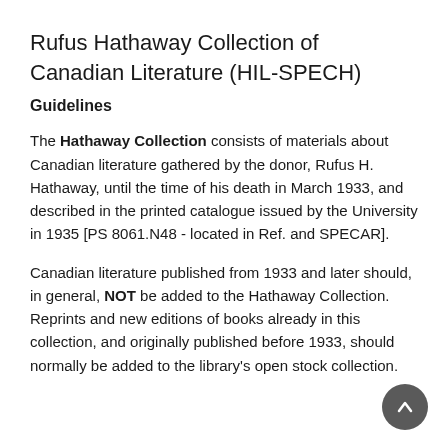Rufus Hathaway Collection of Canadian Literature (HIL-SPECH)
Guidelines
The Hathaway Collection consists of materials about Canadian literature gathered by the donor, Rufus H. Hathaway, until the time of his death in March 1933, and described in the printed catalogue issued by the University in 1935 [PS 8061.N48 - located in Ref. and SPECAR].
Canadian literature published from 1933 and later should, in general, NOT be added to the Hathaway Collection. Reprints and new editions of books already in this collection, and originally published before 1933, should normally be added to the library's open stock collection.